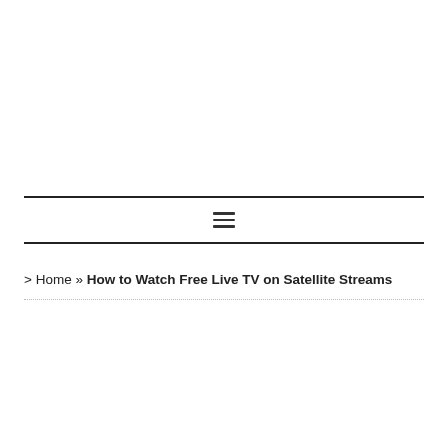≡
> Home » How to Watch Free Live TV on Satellite Streams